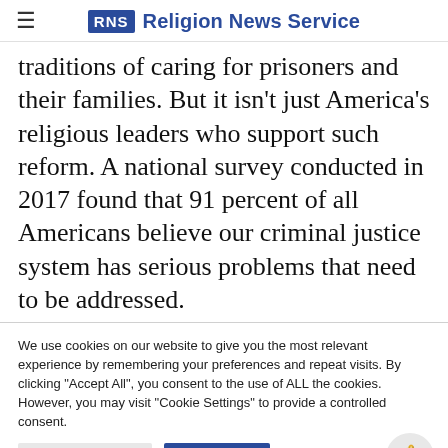RNS Religion News Service
traditions of caring for prisoners and their families. But it isn't just America's religious leaders who support such reform. A national survey conducted in 2017 found that 91 percent of all Americans believe our criminal justice system has serious problems that need to be addressed.
We use cookies on our website to give you the most relevant experience by remembering your preferences and repeat visits. By clicking "Accept All", you consent to the use of ALL the cookies. However, you may visit "Cookie Settings" to provide a controlled consent.